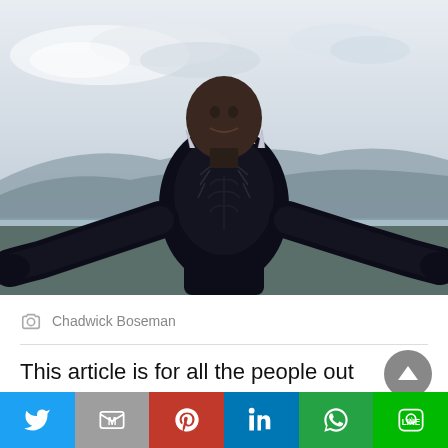[Figure (photo): Chadwick Boseman as Black Panther in costume with arms spread wide, cloudy sky and hills in background]
Chadwick Boseman
This article is for all the people out there who loved the movie Black Panther movie and the actor of
[Figure (infographic): Social media sharing bar with Twitter, Gmail, Pinterest, LinkedIn, WhatsApp, and LINE buttons]